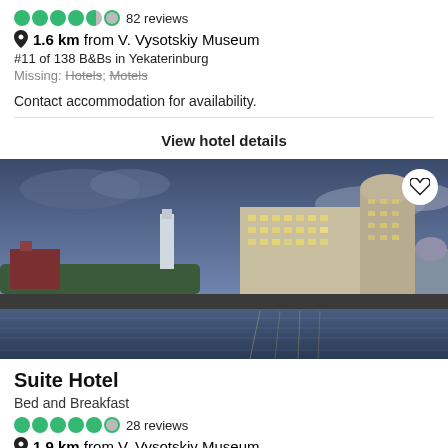82 reviews
1.6 km from V. Vysotskiy Museum
#11 of 138 B&Bs in Yekaterinburg
Missing: Hotels; Motels
Contact accommodation for availability.
View hotel details
[Figure (photo): Cityscape at dusk showing a large hotel building reflected in a river, with city skyline in the background under a dramatic sky]
Suite Hotel
Bed and Breakfast
28 reviews
1.9 km from V. Vysotskiy Museum
#19 of 138 B&Bs in Yekaterinburg